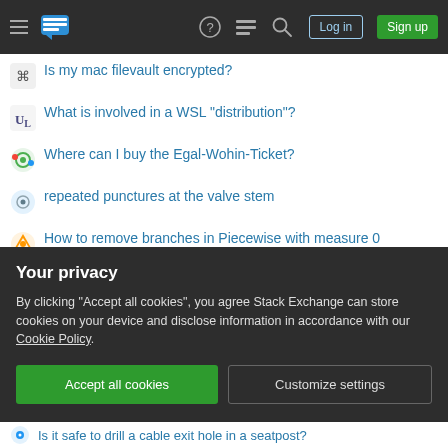Stack Exchange navigation bar with Log in and Sign up buttons
Is my mac filevault encrypted?
What is involved in a WSL "distribution"?
Where can I buy the Egal-Wohin-Ticket?
repeated punctures at the valve stem
How to remove branches in Piecewise with measure 0
The Well-Ordering Theorem and Uncountably Infinite Sets
Snake scales align to normal in geometry nodes
What are the merits of Korea filling a complaint against the U.S. for the Inflation Reduction Act?
Are airships practical in a world without much metal?
Your privacy
By clicking "Accept all cookies", you agree Stack Exchange can store cookies on your device and disclose information in accordance with our Cookie Policy.
Is it safe to drill a cable exit hole in a seatpost?